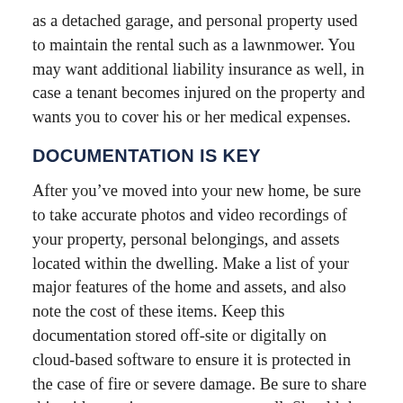as a detached garage, and personal property used to maintain the rental such as a lawnmower. You may want additional liability insurance as well, in case a tenant becomes injured on the property and wants you to cover his or her medical expenses.
DOCUMENTATION IS KEY
After you've moved into your new home, be sure to take accurate photos and video recordings of your property, personal belongings, and assets located within the dwelling. Make a list of your major features of the home and assets, and also note the cost of these items. Keep this documentation stored off-site or digitally on cloud-based software to ensure it is protected in the case of fire or severe damage. Be sure to share this with your insurance agent as well. Should the unthinkable happen, it is best to avoid the added